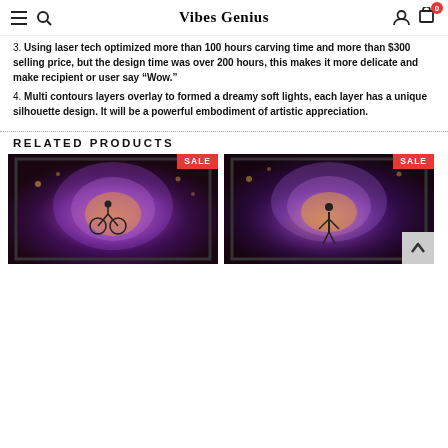Vibes Genius
3. Using laser tech optimized more than 100 hours carving time and more than $300 selling price, but the design time was over 200 hours, this makes it more delicate and make recipient or user say "Wow."
4. Multi contours layers overlay to formed a dreamy soft lights, each layer has a unique silhouette design. It will be a powerful embodiment of artistic appreciation.
RELATED PRODUCTS
[Figure (photo): Product photo of a light box art with purple and orange glowing layers showing a figure on a bicycle, with a SALE badge.]
[Figure (photo): Product photo of a light box art with purple and golden glowing layers showing a silhouette figure, with a SALE badge.]